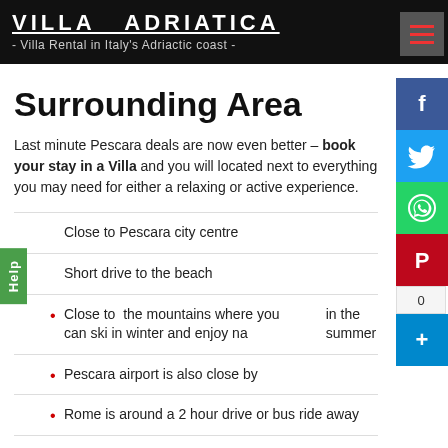VILLA ADRIATICA - Villa Rental in Italy's Adriactic coast -
Surrounding Area
Last minute Pescara deals are now even better – book your stay in a Villa and you will located next to everything you may need for either a relaxing or active experience.
Close to Pescara city centre
Short drive to the beach
Close to  the mountains where you can ski in winter and enjoy nature in the summer
Pescara airport is also close by
Rome is around a 2 hour drive or bus ride away
Last minute Pescara – What is included
Book your stay in a villa and enjoy the following benefits that a last